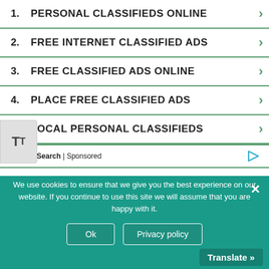1. PERSONAL CLASSIFIEDS ONLINE
2. FREE INTERNET CLASSIFIED ADS
3. FREE CLASSIFIED ADS ONLINE
4. PLACE FREE CLASSIFIED ADS
5. LOCAL PERSONAL CLASSIFIEDS
Yahoo! Search | Sponsored
We use cookies to ensure that we give you the best experience on our website. If you continue to use this site we will assume that you are happy with it.
Ok
Privacy policy
Translate »